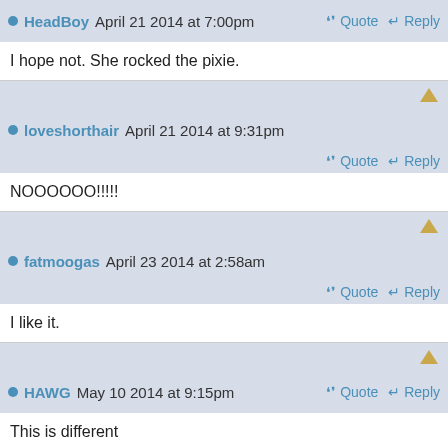HeadBoy April 21 2014 at 7:00pm  Quote  Reply
I hope not. She rocked the pixie.
loveshorthair April 21 2014 at 9:31pm  Quote  Reply
NOOOOOO!!!!!
fatmoogas April 23 2014 at 2:58am  Quote  Reply
I like it.
HAWG May 10 2014 at 9:15pm  Quote  Reply
This is different
[Figure (illustration): Broken image placeholder labeled HB image]
Cheer...Girl May 10 2014 at 11:10...